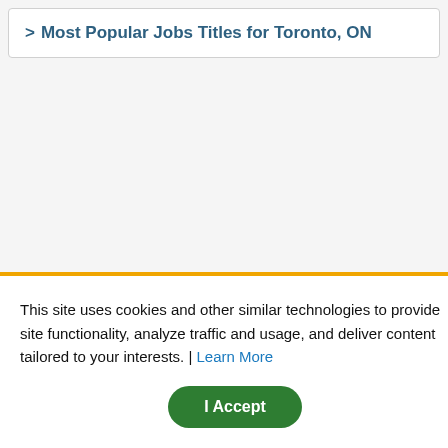> Most Popular Jobs Titles for Toronto, ON
This site uses cookies and other similar technologies to provide site functionality, analyze traffic and usage, and deliver content tailored to your interests. | Learn More
I Accept